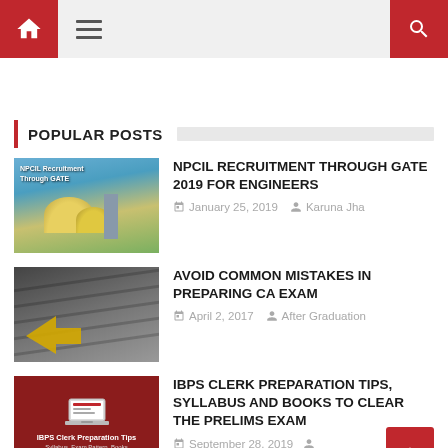Navigation header with home icon, menu icon, search icon
POPULAR POSTS
[Figure (photo): Nuclear power plant with dome structures against blue sky]
NPCIL RECRUITMENT THROUGH GATE 2019 FOR ENGINEERS
January 25, 2019   Karuna Jha
[Figure (photo): Yellow arrow shapes on gray wooden planks background]
AVOID COMMON MISTAKES IN PREPARING CA EXAM
April 2, 2017   After Graduation
[Figure (photo): IBPS Clerk Preparation Tips promotional image with laptop on dark red background]
IBPS CLERK PREPARATION TIPS, SYLLABUS AND BOOKS TO CLEAR THE PRELIMS EXAM
September 28, 2019   After Graduation